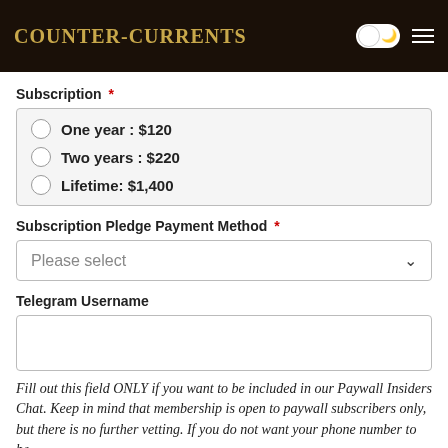Counter-Currents
Subscription *
One year : $120
Two years : $220
Lifetime: $1,400
Subscription Pledge Payment Method *
Please select
Telegram Username
Fill out this field ONLY if you want to be included in our Paywall Insiders Chat. Keep in mind that membership is open to paywall subscribers only, but there is no further vetting. If you do not want your phone number to be